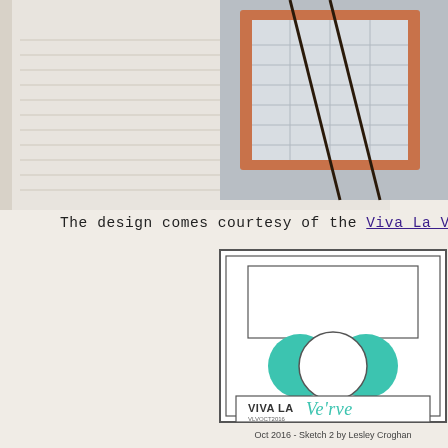[Figure (photo): Top portion of page showing a notebook/planner with orange/copper frame and dark ribbon ties on a gray surface, partially cropped from the right side of the image.]
The design comes courtesy of the Viva La Verve s…
[Figure (illustration): Card sketch layout diagram showing a square card with a rectangle at top, three overlapping circles (teal/mint colored outer two, white center) in the middle, and a banner at the bottom reading VIVA LA Verve with VLVOCT2016 text. Teal and white color scheme.]
Oct 2016 - Sketch 2 by Lesley Croghan